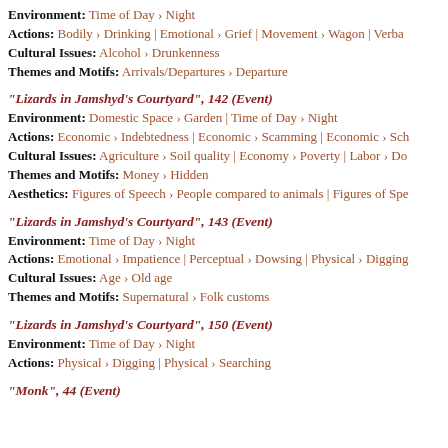Environment: Time of Day › Night
Actions: Bodily › Drinking | Emotional › Grief | Movement › Wagon | Verbal...
Cultural Issues: Alcohol › Drunkenness
Themes and Motifs: Arrivals/Departures › Departure
"Lizards in Jamshyd's Courtyard", 142 (Event)
Environment: Domestic Space › Garden | Time of Day › Night
Actions: Economic › Indebtedness | Economic › Scamming | Economic › Sch...
Cultural Issues: Agriculture › Soil quality | Economy › Poverty | Labor › Do...
Themes and Motifs: Money › Hidden
Aesthetics: Figures of Speech › People compared to animals | Figures of Spe...
"Lizards in Jamshyd's Courtyard", 143 (Event)
Environment: Time of Day › Night
Actions: Emotional › Impatience | Perceptual › Dowsing | Physical › Digging
Cultural Issues: Age › Old age
Themes and Motifs: Supernatural › Folk customs
"Lizards in Jamshyd's Courtyard", 150 (Event)
Environment: Time of Day › Night
Actions: Physical › Digging | Physical › Searching
"Monk", 44 (Event)